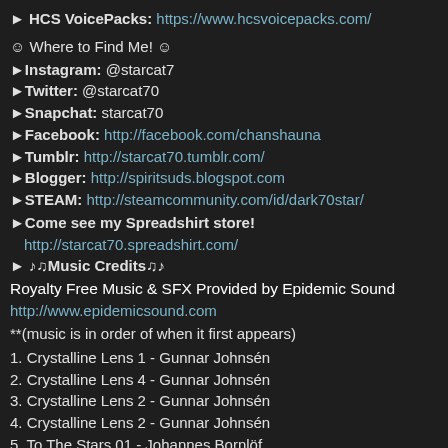► HCS VoicePacks:  https://www.hcsvoicepacks.com/
☺ Where to Find Me! ☺
►Instagram:  @starcat7
►Twitter:  @starcat70
►Snapchat:  starcat70
►Facebook:  http://facebook.com/chanshauna
►Tumblr:  http://starcat70.tumblr.com/
►Blogger:  http://spiritsuds.blogspot.com
►STEAM:  http://steamcommunity.com/id/dark70star/
►Come see my Spreadshirt store! http://starcat70.spreadshirt.com/
►♪♫Music Credits♫♪
Royalty Free Music & SFX Provided by Epidemic Sound
http://www.epidemicsound.com
**(music is in order of when it first appears)
1. Crystalline Lens 1 - Gunnar Johnsén
2.  Crystalline Lens 4 - Gunnar Johnsén
3.  Crystalline Lens 2 - Gunnar Johnsén
4.  Crystalline Lens 2 - Gunnar Johnsén
5.  To The Stars 01 - Johannes Bornlöf
▲Video Software & Audio Gear▲